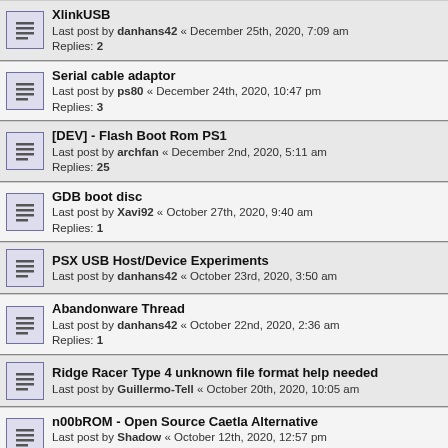XlinkUSB
Last post by danhans42 « December 25th, 2020, 7:09 am
Replies: 2
Serial cable adaptor
Last post by ps80 « December 24th, 2020, 10:47 pm
Replies: 3
[DEV] - Flash Boot Rom PS1
Last post by archfan « December 2nd, 2020, 5:11 am
Replies: 25
GDB boot disc
Last post by Xavi92 « October 27th, 2020, 9:40 am
Replies: 1
PSX USB Host/Device Experiments
Last post by danhans42 « October 23rd, 2020, 3:50 am
Abandonware Thread
Last post by danhans42 « October 22nd, 2020, 2:36 am
Replies: 1
Ridge Racer Type 4 unknown file format help needed
Last post by Guillermo-Tell « October 20th, 2020, 10:05 am
n00bROM - Open Source Caetla Alternative
Last post by Shadow « October 12th, 2020, 12:57 pm
Replies: 3
Newroze first release
Last post by Shadow « September 2nd, 2020, 3:43 am
Replies: 1
PSX CD-Player only Project
Last post by TriMesh « August 31st, 2020, 12:24 am
Replies: 87